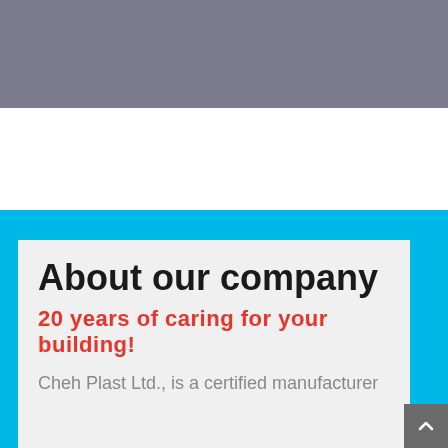[Figure (photo): Gray banner image at the top of the page]
About our company
20 years of caring for your building!
Cheh Plast Ltd., is a certified manufacturer